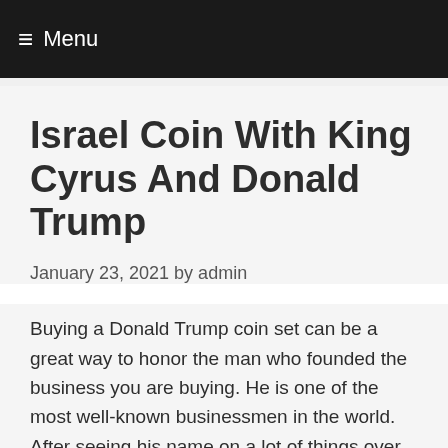≡ Menu
Israel Coin With King Cyrus And Donald Trump
January 23, 2021 by admin
Buying a Donald Trump coin set can be a great way to honor the man who founded the business you are buying. He is one of the most well-known businessmen in the world. After seeing his name on a lot of things over